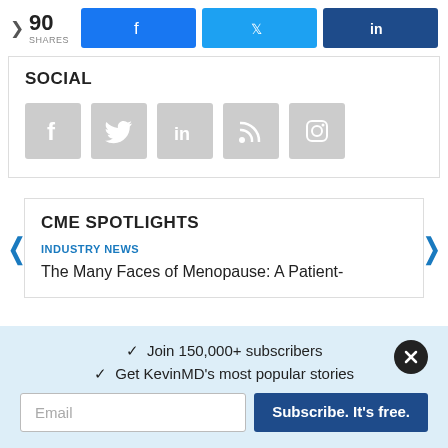[Figure (infographic): Share bar with count '90 SHARES' and three social share buttons: Facebook (blue), Twitter (light blue), LinkedIn (dark blue)]
SOCIAL
[Figure (infographic): Row of five gray social media icon boxes: Facebook, Twitter, LinkedIn, RSS, Instagram]
CME SPOTLIGHTS
INDUSTRY NEWS
The Many Faces of Menopause: A Patient-
✓  Join 150,000+ subscribers
✓  Get KevinMD's most popular stories